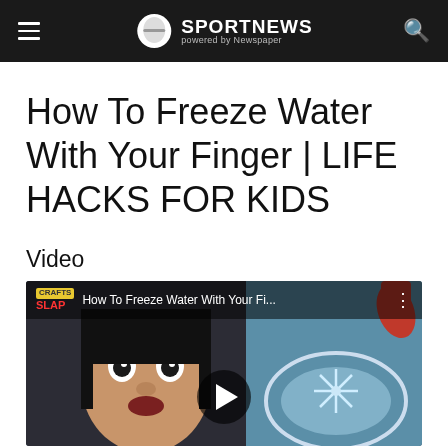SPORTNEWS powered by Newspaper
How To Freeze Water With Your Finger | LIFE HACKS FOR KIDS
Video
[Figure (screenshot): Embedded video thumbnail showing a child's face and a glass bowl with ice crystals. Title overlay reads 'How To Freeze Water With Your Fi...' with a play button in the center. Life Hacks logo visible on left side.]